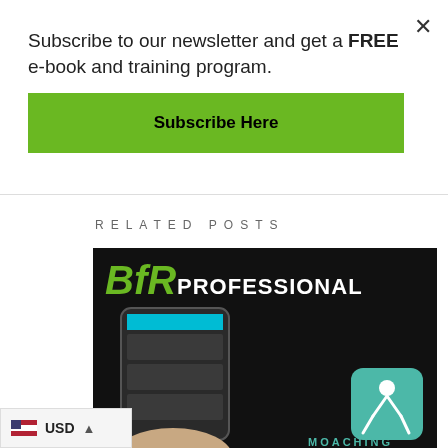Subscribe to our newsletter and get a FREE e-book and training program.
Subscribe Here
RELATED POSTS
[Figure (photo): BfR Professional app promotional image showing a smartphone with fitness app and Moaching logo on dark background]
USD